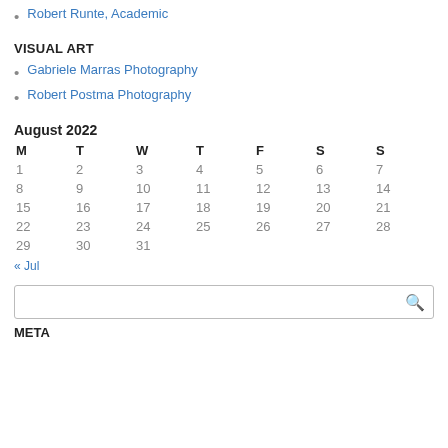Robert Runte, Academic
VISUAL ART
Gabriele Marras Photography
Robert Postma Photography
| M | T | W | T | F | S | S |
| --- | --- | --- | --- | --- | --- | --- |
| 1 | 2 | 3 | 4 | 5 | 6 | 7 |
| 8 | 9 | 10 | 11 | 12 | 13 | 14 |
| 15 | 16 | 17 | 18 | 19 | 20 | 21 |
| 22 | 23 | 24 | 25 | 26 | 27 | 28 |
| 29 | 30 | 31 |  |  |  |  |
« Jul
META